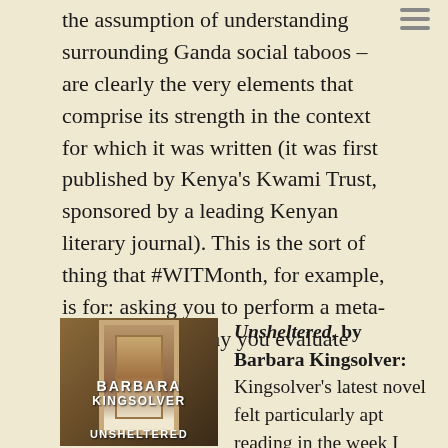the assumption of understanding surrounding Ganda social taboos – are clearly the very elements that comprise its strength in the context for which it was written (it was first published by Kenya's Kwami Trust, sponsored by a leading Kenyan literary journal). This is the sort of thing that #WITMonth, for example, is for: asking you to perform a meta-analysis of the way you evaluate literary success.
[Figure (photo): Book cover of 'Unsheltered' by Barbara Kingsolver, showing a doorway/hallway with ornate wallpaper, dark wood door frame opening to a corridor]
Unsheltered, by Barbara Kingsolver: Kingsolver's latest novel felt particularly apt reading in the week I was in Brussels. Half of it deals with a very contemporary woman